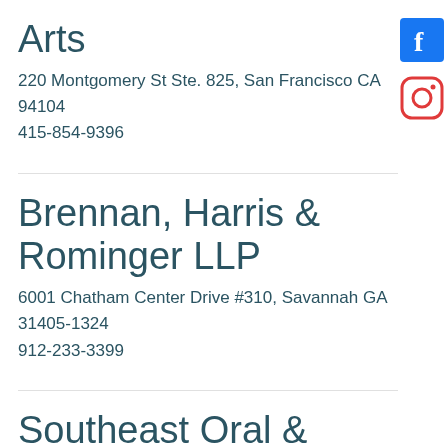Arts
220 Montgomery St Ste. 825, San Francisco CA 94104
415-854-9396
[Figure (logo): Facebook logo icon — blue square with white 'f']
[Figure (logo): Instagram logo icon — rounded square outline with circle and dot]
Brennan, Harris & Rominger LLP
6001 Chatham Center Drive #310, Savannah GA 31405-1324
912-233-3399
Southeast Oral & Maxillofacial Surgery